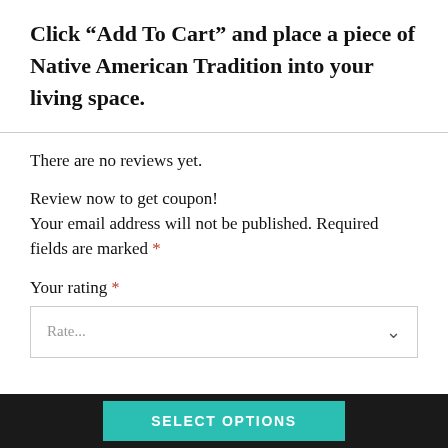Click “Add To Cart” and place a piece of Native American Tradition into your living space.
There are no reviews yet.
Review now to get coupon!
Your email address will not be published. Required fields are marked *
Your rating *
Rate...
SELECT OPTIONS